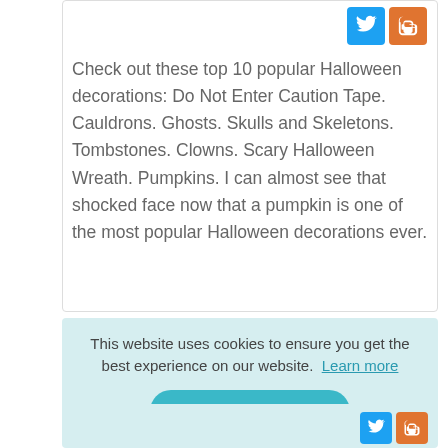Check out these top 10 popular Halloween decorations: Do Not Enter Caution Tape. Cauldrons. Ghosts. Skulls and Skeletons. Tombstones. Clowns. Scary Halloween Wreath. Pumpkins. I can almost see that shocked face now that a pumpkin is one of the most popular Halloween decorations ever.
This website uses cookies to ensure you get the best experience on our website. Learn more